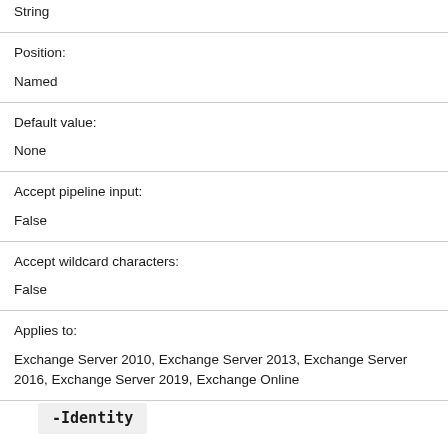| String |  |
| Position: | Named |
| Default value: | None |
| Accept pipeline input: | False |
| Accept wildcard characters: | False |
| Applies to: | Exchange Server 2010, Exchange Server 2013, Exchange Server 2016, Exchange Server 2019, Exchange Online |
-Identity